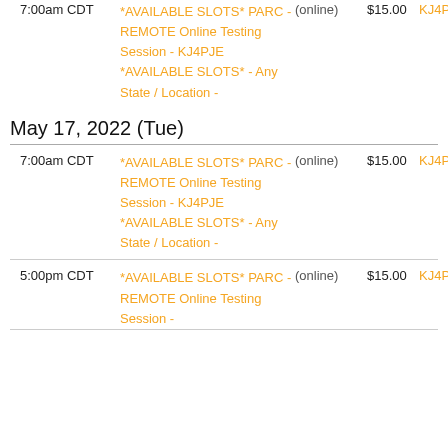| Time | Name | Location | Fee | VE |
| --- | --- | --- | --- | --- |
| 7:00am CDT | *AVAILABLE SLOTS* PARC - REMOTE Online Testing Session - KJ4PJE *AVAILABLE SLOTS* - Any State / Location - | (online) | $15.00 | KJ4PJE |
May 17, 2022 (Tue)
| Time | Name | Location | Fee | VE |
| --- | --- | --- | --- | --- |
| 7:00am CDT | *AVAILABLE SLOTS* PARC - REMOTE Online Testing Session - KJ4PJE *AVAILABLE SLOTS* - Any State / Location - | (online) | $15.00 | KJ4PJE |
| 5:00pm CDT | *AVAILABLE SLOTS* PARC - REMOTE Online Testing Session - | (online) | $15.00 | KJ4PJE |